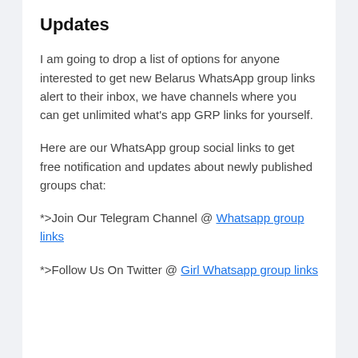Updates
I am going to drop a list of options for anyone interested to get new Belarus WhatsApp group links alert to their inbox, we have channels where you can get unlimited what's app GRP links for yourself.
Here are our WhatsApp group social links to get free notification and updates about newly published groups chat:
*>Join Our Telegram Channel @ Whatsapp group links
*>Follow Us On Twitter @ Girl Whatsapp group links